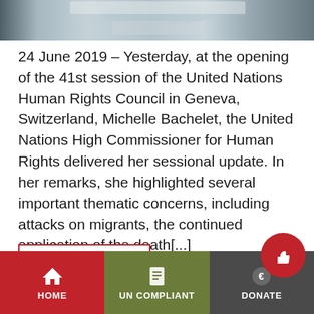[Figure (photo): Blurred photo of a person at a podium/session, possibly at the UN Human Rights Council session in Geneva]
24 June 2019 – Yesterday, at the opening of the 41st session of the United Nations Human Rights Council in Geneva, Switzerland, Michelle Bachelet, the United Nations High Commissioner for Human Rights delivered her sessional update. In her remarks, she highlighted several important thematic concerns, including attacks on migrants, the continued application of the death[...]
Continue reading →
HOME | UN COMPLIANT | DONATE